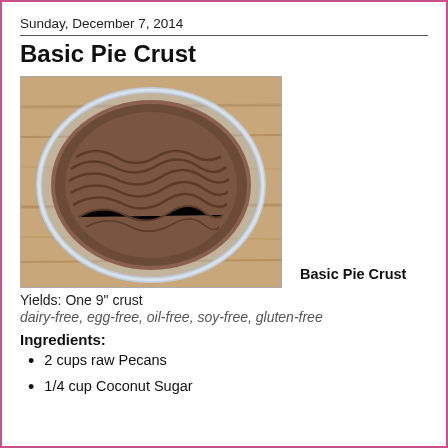Sunday, December 7, 2014
Basic Pie Crust
[Figure (photo): Top-down photo of a raw pie crust pressed into a glass pie dish, sitting on a wooden surface. The crust appears dark brown/chocolate colored with a textured, rippled surface.]
Basic Pie Crust
Yields: One 9" crust
dairy-free, egg-free, oil-free, soy-free, gluten-free
Ingredients:
2 cups raw Pecans
1/4 cup Coconut Sugar